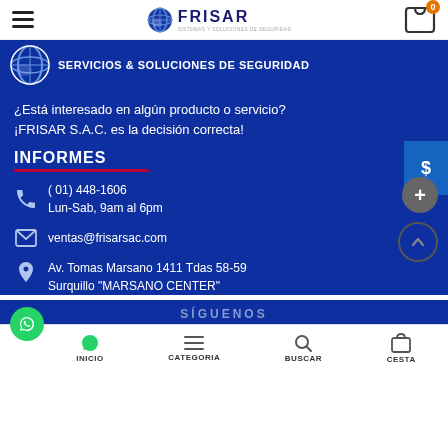FRISAR
[Figure (screenshot): FRISAR website header with logo, hamburger menu, and cart button showing 0 items]
SERVICIOS & SOLUCIONES DE SEGURIDAD
¿Está interesado en algún producto o servicio? ¡FRISAR S.A.C. es la decisión correcta!
INFORMES
( 01) 448-1606
Lun-Sab, 9am al 6pm
ventas@frisarsac.com
Av. Tomas Marsano 1411 Tdas 58-59
Surquillo "MARSANO CENTER"
SÍGUENOS
INICIO   CATEGORIA   BUSCAR   CESTA